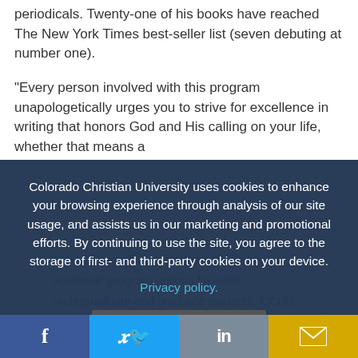periodicals. Twenty-one of his books have reached The New York Times best-seller list (seven debuting at number one).
“Every person involved with this program unapologetically urges you to strive for excellence in writing that honors God and His calling on your life, whether that means a
Colorado Christian University uses cookies to enhance your browsing experience through analysis of our site usage, and assists us in our marketing and promotional efforts. By continuing to use the site, you agree to the storage of first- and third-party cookies on your device. Privacy policy. [Okay, thanks button]
CCU Online offers more than 100 online academic program options for adult undergraduate and graduate students. CCU’s accredited degrees Washington ties
Facebook | Twitter | LinkedIn | Email